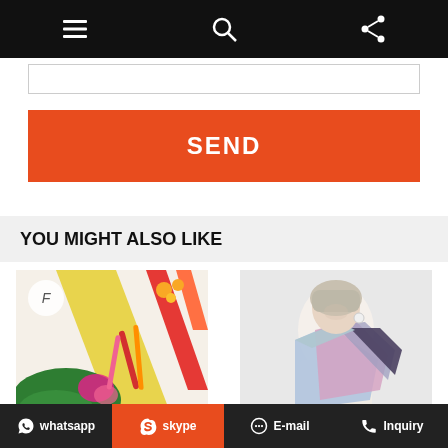Navigation bar with menu, search, and share icons
[Figure (screenshot): Orange SEND button]
YOU MIGHT ALSO LIKE
[Figure (photo): High Quality Custom Design Satin Silk Scarf Pashmina product image showing colorful scarves]
High Quality Custom Design Satin Silk Scarf Pashmina...
[Figure (photo): Blue Long Chiffon Scarves product image showing woman wearing pastel striped scarf]
Blue Long Chiffon Scarves
whatsapp  skype  E-mail  Inquiry